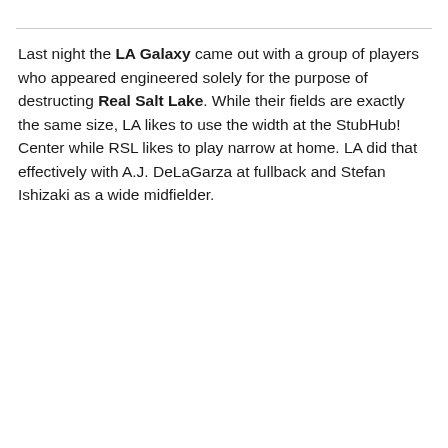Last night the LA Galaxy came out with a group of players who appeared engineered solely for the purpose of destructing Real Salt Lake. While their fields are exactly the same size, LA likes to use the width at the StubHub! Center while RSL likes to play narrow at home. LA did that effectively with A.J. DeLaGarza at fullback and Stefan Ishizaki as a wide midfielder.